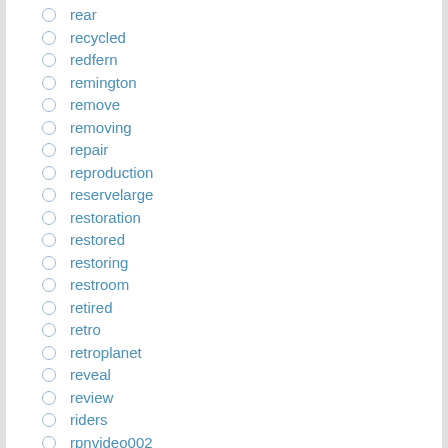rear
recycled
redfern
remington
remove
removing
repair
reproduction
reservelarge
restoration
restored
restoring
restroom
retired
retro
retroplanet
reveal
review
riders
rpnvideo002